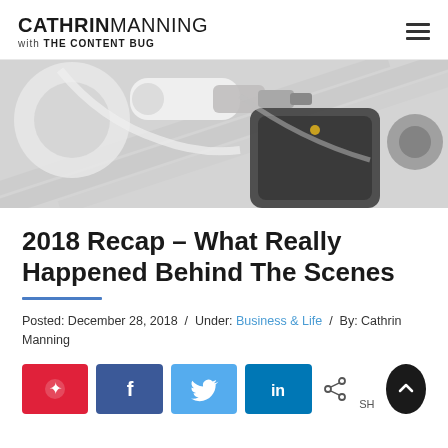CATHRIN MANNING with THE CONTENT BUG
[Figure (photo): Flat lay photo of USB drive, mobile phone, earbuds and coffee cup on a white/grey background, muted tones]
2018 Recap – What Really Happened Behind The Scenes
Posted: December 28, 2018 / Under: Business & Life / By: Cathrin Manning
[Figure (infographic): Social sharing buttons row: Pinterest (red), Facebook (blue), Twitter (light blue), LinkedIn (dark blue), share icon, and scroll-to-top circle button]